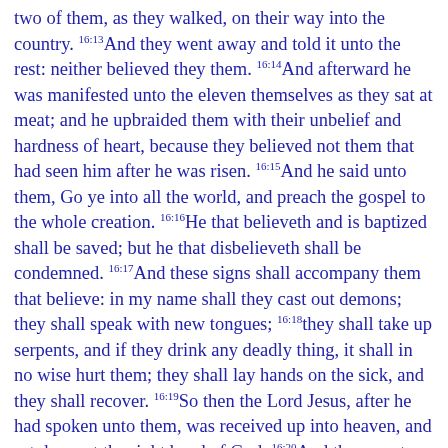two of them, as they walked, on their way into the country. 16:13And they went away and told it unto the rest: neither believed they them. 16:14And afterward he was manifested unto the eleven themselves as they sat at meat; and he upbraided them with their unbelief and hardness of heart, because they believed not them that had seen him after he was risen. 16:15And he said unto them, Go ye into all the world, and preach the gospel to the whole creation. 16:16He that believeth and is baptized shall be saved; but he that disbelieveth shall be condemned. 16:17And these signs shall accompany them that believe: in my name shall they cast out demons; they shall speak with new tongues; 16:18they shall take up serpents, and if they drink any deadly thing, it shall in no wise hurt them; they shall lay hands on the sick, and they shall recover. 16:19So then the Lord Jesus, after he had spoken unto them, was received up into heaven, and sat down at the right hand of God. 16:20And they went forth, and preached everywhere, the Lord working with them, and confirming the word by the signs that followed. Amen.